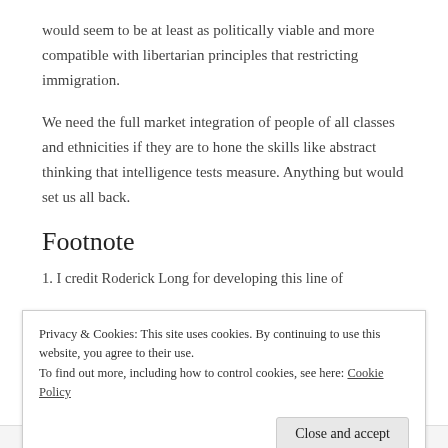would seem to be at least as politically viable and more compatible with libertarian principles that restricting immigration.
We need the full market integration of people of all classes and ethnicities if they are to hone the skills like abstract thinking that intelligence tests measure. Anything but would set us all back.
Footnote
1. I credit Roderick Long for developing this line of
Privacy & Cookies: This site uses cookies. By continuing to use this website, you agree to their use.
To find out more, including how to control cookies, see here: Cookie Policy
Close and accept